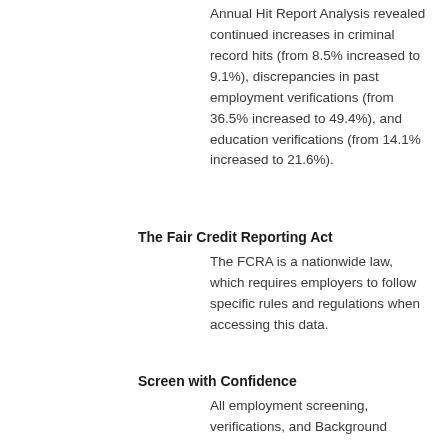Annual Hit Report Analysis revealed continued increases in criminal record hits (from 8.5% increased to 9.1%), discrepancies in past employment verifications (from 36.5% increased to 49.4%), and education verifications (from 14.1% increased to 21.6%).
The Fair Credit Reporting Act
The FCRA is a nationwide law, which requires employers to follow specific rules and regulations when accessing this data.
Screen with Confidence
All employment screening, verifications, and Background